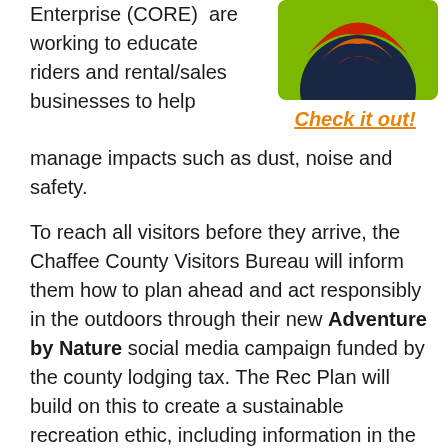Enterprise (CORE)  are working to educate riders and rental/sales businesses to help manage impacts such as dust, noise and safety.
[Figure (illustration): Circular logo/graphic with green background and colorful swirling design in red, orange, and dark blue/black, partially visible at top right.]
Check it out!
To reach all visitors before they arrive, the Chaffee County Visitors Bureau will inform them how to plan ahead and act responsibly in the outdoors through their new Adventure by Nature social media campaign funded by the county lodging tax. The Rec Plan will build on this to create a sustainable recreation ethic, including information in the Chaffee Visitors Guide and delivered through social and multi-media to specific user groups.